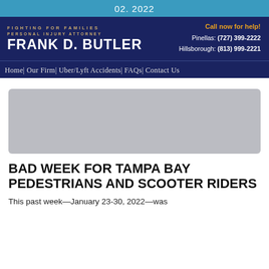02. 2022
FIGHTING FOR FAMILIES
PERSONAL INJURY ATTORNEY
FRANK D. BUTLER
Call now for help!
Pinellas: (727) 399-2222
Hillsborough: (813) 999-2221
Home| Our Firm| Uber/Lyft Accidents| FAQs| Contact Us
[Figure (photo): Gray placeholder image for article header photo]
BAD WEEK FOR TAMPA BAY PEDESTRIANS AND SCOOTER RIDERS
This past week—January 23-30, 2022—was